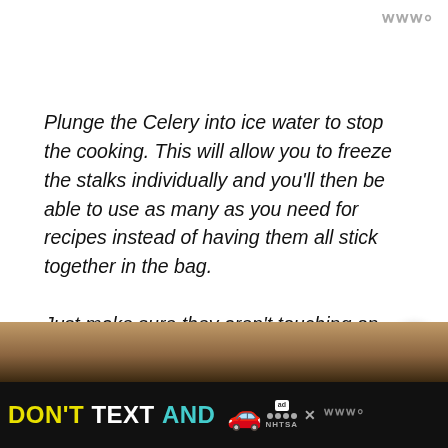www
Plunge the Celery into ice water to stop the cooking. This will allow you to freeze the stalks individually and you'll then be able to use as many as you need for recipes instead of having them all stick together in the bag.

Just make sure they aren't touching on the pan when you put them in the freezer. Freeze them for at least 2 hours-6 hours. This is called Blanching Celery!
[Figure (photo): Brown food/surface photo strip at bottom of content area]
DON'T TEXT AND 🚗 ad NHTSA www